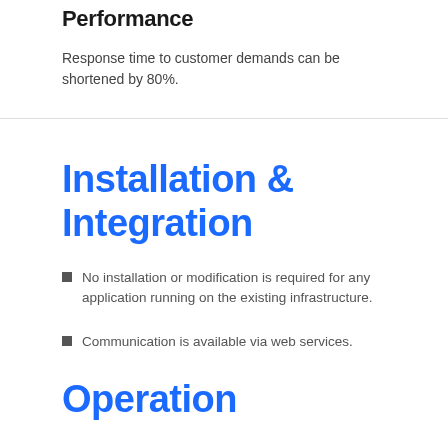Performance
Response time to customer demands can be shortened by 80%.
Installation & Integration
No installation or modification is required for any application running on the existing infrastructure.
Communication is available via web services.
Operation